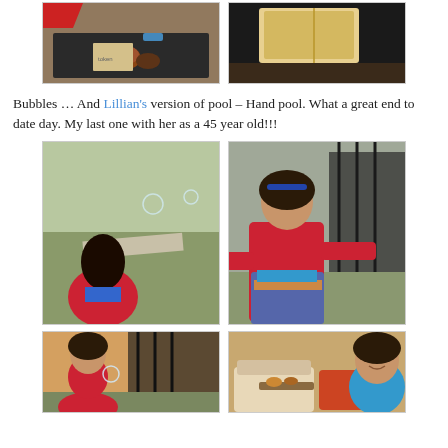[Figure (photo): Top-left photo: overhead view of food items and objects on a dark table, child in red shirt visible]
[Figure (photo): Top-right photo: close-up of a paper bag or food packaging on a surface]
Bubbles … And Lillian's version of pool – Hand pool. What a great end to date day. My last one with her as a 45 year old!!!
[Figure (photo): Middle-left photo: child blowing bubbles outdoors on a lawn, bubbles visible in air]
[Figure (photo): Middle-right photo: girl in red jacket and colorful skirt posing outdoors near a fence]
[Figure (photo): Bottom-left photo: girl in red jacket outdoors near a fence, bubble visible]
[Figure (photo): Bottom-right photo: girl smiling indoors near furniture and food items]